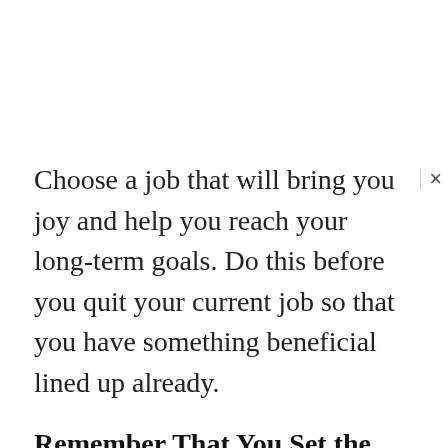Choose a job that will bring you joy and help you reach your long-term goals. Do this before you quit your current job so that you have something beneficial lined up already.
Remember That You Set the Tone
Some of your coworkers will try to figure out why you're leaving the company. They might not take your answer at face value and try to find clues to something more